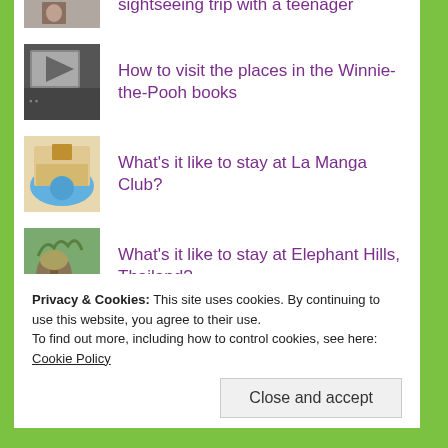sightseeing trip with a teenager
How to visit the places in the Winnie-the-Pooh books
What's it like to stay at La Manga Club?
What's it like to stay at Elephant Hills, Thailand?
5-night itinerary for Northern Tunisia
Privacy & Cookies: This site uses cookies. By continuing to use this website, you agree to their use.
To find out more, including how to control cookies, see here: Cookie Policy
Close and accept